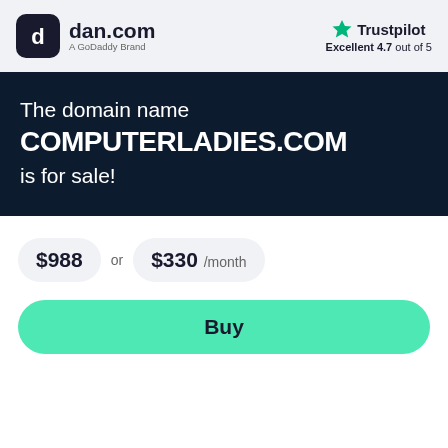[Figure (logo): dan.com logo - dark rounded square icon with stylized 'd' letter in white, followed by 'dan.com' text in dark, and 'A GoDaddy Brand' subtitle]
[Figure (logo): Trustpilot logo with green star icon and 'Trustpilot' text, rating 'Excellent 4.7 out of 5']
The domain name COMPUTERLADIES.COM is for sale!
$988 or $330 /month
Buy